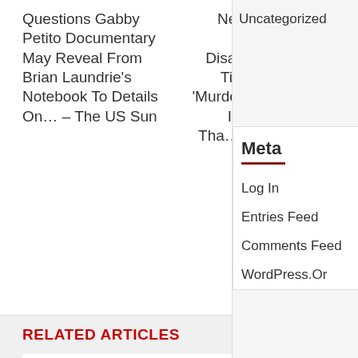Questions Gabby Petito Documentary May Reveal From Brian Laundrie's Notebook To Details On... – The US Sun
News – Brian Laundrie, Disappearance Timeline And 'Murder' Covered In New Film Tha... – The US Sun
Uncategorized
Meta
Log In
Entries Feed
Comments Feed
WordPress.Or
RELATED ARTICLES
[Figure (photo): Broken image placeholder for a related article]